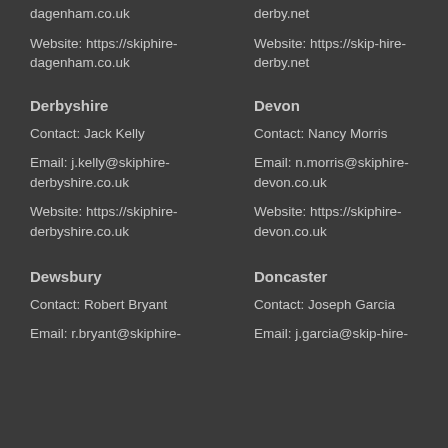dagenham.co.uk
derby.net
Website: https://skiphire-dagenham.co.uk
Website: https://skip-hire-derby.net
Derbyshire
Devon
Contact: Jack Kelly
Contact: Nancy Morris
Email: j.kelly@skiphire-derbyshire.co.uk
Email: n.morris@skiphire-devon.co.uk
Website: https://skiphire-derbyshire.co.uk
Website: https://skiphire-devon.co.uk
Dewsbury
Doncaster
Contact: Robert Bryant
Contact: Joseph Garcia
Email: r.bryant@skiphire-
Email: j.garcia@skip-hire-